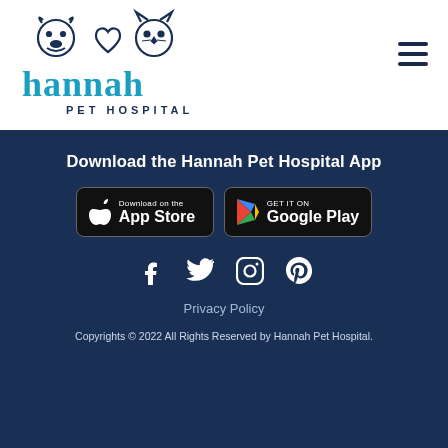[Figure (logo): Hannah Pet Hospital logo with dog and cat silhouettes above the word 'hannah' in teal, and 'PET HOSPITAL' in dark blue below]
Download the Hannah Pet Hospital App
[Figure (screenshot): App Store download button (black rounded rectangle with Apple logo)]
[Figure (screenshot): Google Play download button (black rounded rectangle with Play logo)]
[Figure (infographic): Social media icons: Facebook, Twitter, Instagram, Pinterest]
Privacy Policy
Copyrights © 2022 All Rights Reserved by Hannah Pet Hospital.